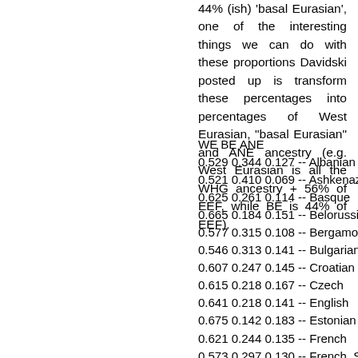44% (ish) 'basal Eurasian', one of the interesting things we can do with these proportions Davidski posted up is transform these percentages into percentages of West Eurasian, "basal Eurasian" and ANE ancestry (e.g. West Eurasian is all the WHG ancestry + 56% of EEF, while BE is 44% of EEF).
WE BE ANE
0.529 0.344 0.127 -- Albanian
0.521 0.410 0.069 -- Ashkenazi_Jew
0.625 0.261 0.114 -- Basque
0.665 0.184 0.151 -- Belorussian
0.577 0.315 0.108 -- Bergamo
0.546 0.313 0.141 -- Bulgarian
0.607 0.247 0.145 -- Croatian
0.615 0.218 0.167 -- Czech
0.641 0.218 0.141 -- English
0.675 0.142 0.183 -- Estonian
0.621 0.244 0.135 -- French
0.573 0.297 0.130 -- French_South
0.502 0.348 0.151 -- Greek
0.576 0.246 0.179 -- Hungarian